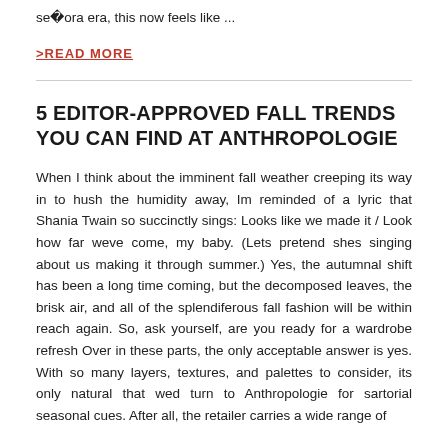se�ora era, this now feels like ...
>READ MORE
5 EDITOR-APPROVED FALL TRENDS YOU CAN FIND AT ANTHROPOLOGIE
When I think about the imminent fall weather creeping its way in to hush the humidity away, Im reminded of a lyric that Shania Twain so succinctly sings: Looks like we made it / Look how far weve come, my baby. (Lets pretend shes singing about us making it through summer.) Yes, the autumnal shift has been a long time coming, but the decomposed leaves, the brisk air, and all of the splendiferous fall fashion will be within reach again. So, ask yourself, are you ready for a wardrobe refresh Over in these parts, the only acceptable answer is yes. With so many layers, textures, and palettes to consider, its only natural that wed turn to Anthropologie for sartorial seasonal cues. After all, the retailer carries a wide range of